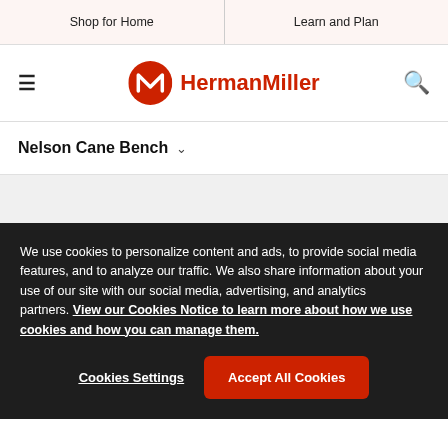Shop for Home | Learn and Plan
[Figure (logo): HermanMiller logo with red circle containing a white M icon, followed by red bold text 'HermanMiller']
Nelson Cane Bench
We use cookies to personalize content and ads, to provide social media features, and to analyze our traffic. We also share information about your use of our site with our social media, advertising, and analytics partners. View our Cookies Notice to learn more about how we use cookies and how you can manage them.
Cookies Settings | Accept All Cookies